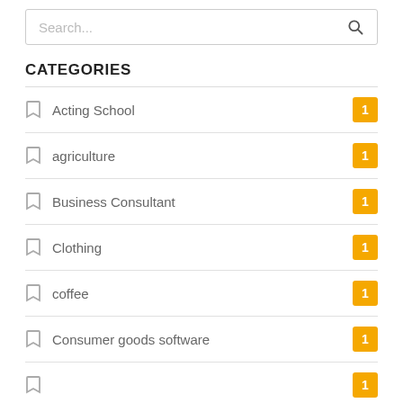Search...
CATEGORIES
Acting School 1
agriculture 1
Business Consultant 1
Clothing 1
coffee 1
Consumer goods software 1